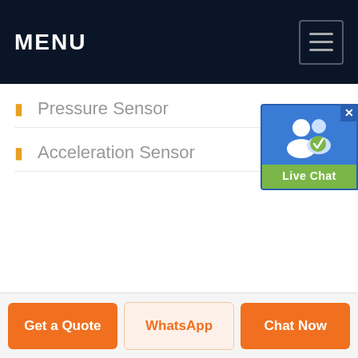MENU
Pressure Sensor
Acceleration Sensor
[Figure (screenshot): Live Chat widget with user icon and green label]
Get a Quote | WhatsApp | Chat Now